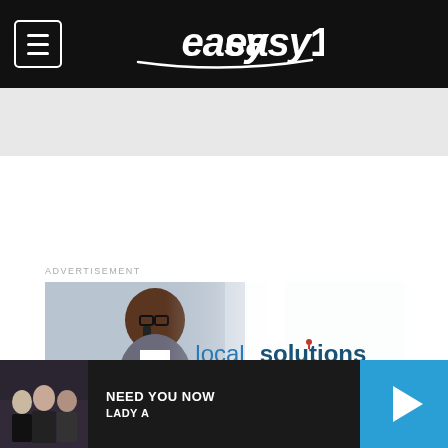[Figure (screenshot): Easy 102.9 radio station website header navigation bar with hamburger menu icon and station logo on black background]
ADVERTISEMENT
[Figure (photo): Local Solutions powered by Cox Media Group advertisement. Shows a Black man in glasses talking on a phone, with text 'localsolutions powered by COX MEDIA GROUP' and a red banner reading 'Strategic. Trusted. Solutions.']
[Figure (screenshot): Music player bar showing album art thumbnail, song title 'NEED YOU NOW' by 'LADY A', and a blue play button]